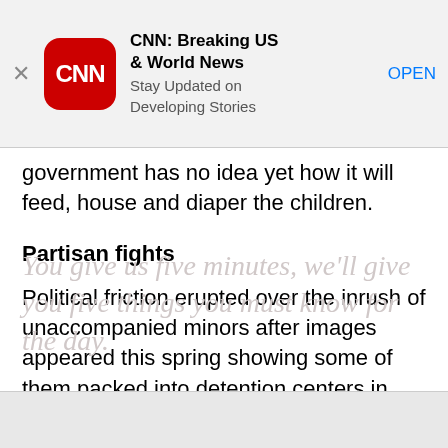[Figure (screenshot): CNN app banner with red rounded square icon showing CNN logo, app name 'CNN: Breaking US & World News', subtitle 'Stay Updated on Developing Stories', and OPEN button in blue. Close X on left.]
"This is a humanitarian crisis," said Guchan. The government has no idea yet how it will feed, house and diaper the children.
Partisan fights
Political friction erupted over the inrush of unaccompanied minors after images appeared this spring showing some of them packed into detention centers in Arizona.
You give us five minutes, we'll give you five things you must know for the day.